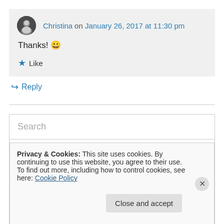Christina on January 26, 2017 at 11:30 pm
Thanks! 😀
★ Like
↪ Reply
Search
Privacy & Cookies: This site uses cookies. By continuing to use this website, you agree to their use.
To find out more, including how to control cookies, see here: Cookie Policy
Close and accept